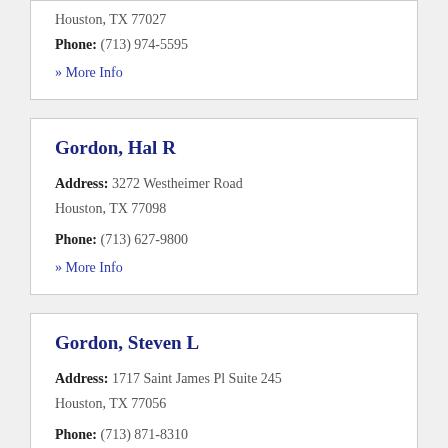Houston, TX 77027
Phone: (713) 974-5595
» More Info
Gordon, Hal R
Address: 3272 Westheimer Road
Houston, TX 77098
Phone: (713) 627-9800
» More Info
Gordon, Steven L
Address: 1717 Saint James Pl Suite 245
Houston, TX 77056
Phone: (713) 871-8310